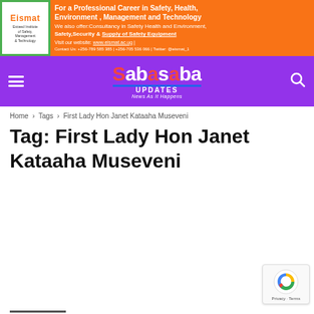[Figure (infographic): Eismat banner advertisement on orange background with logo and text about professional career in Safety, Health, Environment, Management and Technology]
[Figure (logo): Sabasaba Updates news website navigation bar on purple background with hamburger menu and search icon]
Home › Tags › First Lady Hon Janet Kataaha Museveni
Tag: First Lady Hon Janet Kataaha Museveni